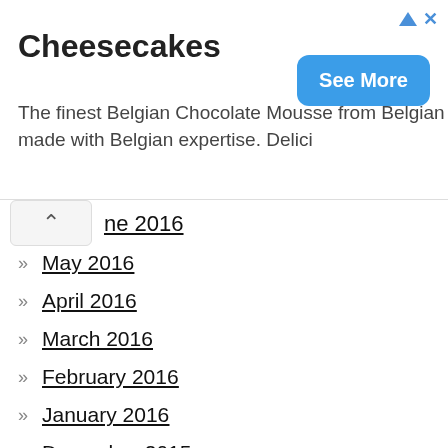[Figure (other): Advertisement banner for Cheesecakes with blue triangle and X icons top right, blue 'See More' button, and descriptive text about Belgian Chocolate Mousse]
ne 2016 (partial, collapsed)
May 2016
April 2016
March 2016
February 2016
January 2016
December 2015
November 2015
October 2015
September 2015
August 2015
July 2015